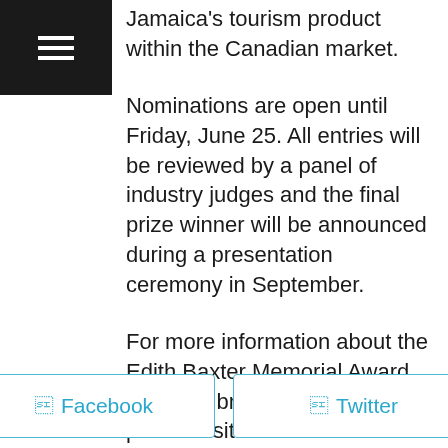[Figure (other): Black square with white hamburger/menu icon (three horizontal lines)]
Jamaica's tourism product within the Canadian market.
Nominations are open until Friday, June 25. All entries will be reviewed by a panel of industry judges and the final prize winner will be announced during a presentation ceremony in September.
For more information about the Edith Baxter Memorial Award and to submit a nomination, please visit edithbaxteraward.com or contact awards@visitjamaica.com.
Facebook  Twitter